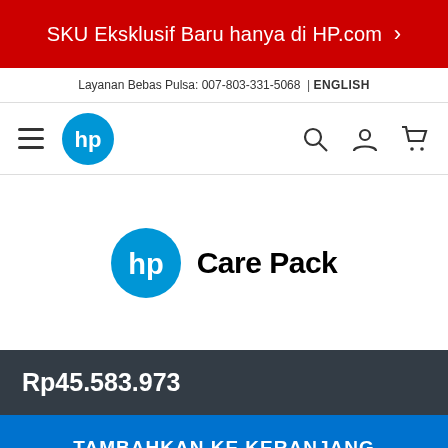SKU Eksklusif Baru hanya di HP.com >
Layanan Bebas Pulsa: 007-803-331-5068 | ENGLISH
[Figure (logo): HP navigation bar with hamburger menu, HP logo, search icon, user icon, and cart icon]
[Figure (logo): HP Care Pack product logo with HP circular logo and Care Pack text]
Rp45.583.973
TAMBAHKAN KE KERANJANG